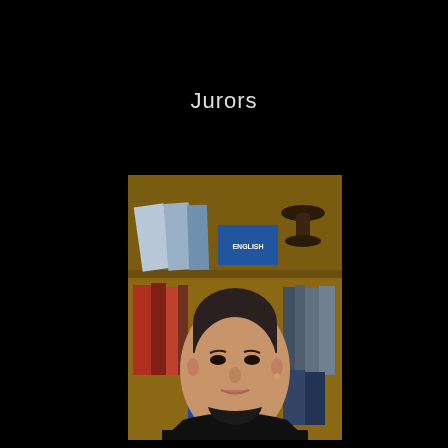Jurors
[Figure (photo): Portrait photo of a woman with short dark hair, wearing a black turtleneck sweater, smiling slightly at the camera. Behind her is a wooden bookshelf filled with books, including a visible spine labeled 'ENGLISH', and a decorative African headrest sculpture on the top shelf.]